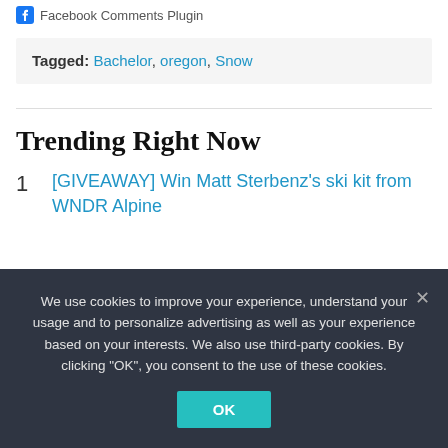Facebook Comments Plugin
Tagged: Bachelor, oregon, Snow
Trending Right Now
1. [GIVEAWAY] Win Matt Sterbenz's ski kit from WNDR Alpine
We use cookies to improve your experience, understand your usage and to personalize advertising as well as your experience based on your interests. We also use third-party cookies. By clicking "OK", you consent to the use of these cookies.